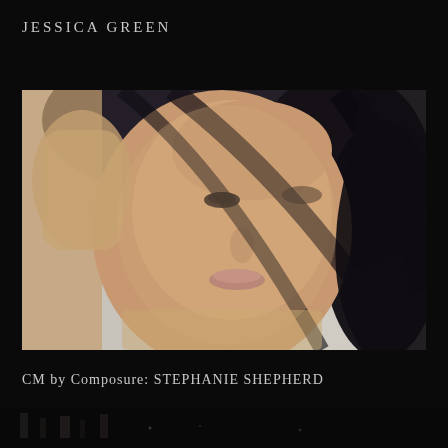JESSICA GREEN
[Figure (photo): Close-up portrait of a woman with dark shoulder-length hair, resting her hand against her head, looking slightly upward. Light gray background. She is wearing a light beige/tan top.]
CM by Composure: STEPHANIE SHEPHERD
[Figure (photo): Partial view of a dark nighttime or indoor scene visible at the very bottom of the page.]